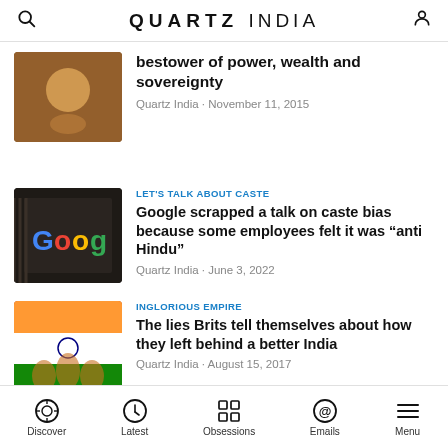QUARTZ INDIA
bestower of power, wealth and sovereignty
Quartz India · November 11, 2015
LET'S TALK ABOUT CASTE
Google scrapped a talk on caste bias because some employees felt it was “anti Hindu”
Quartz India · June 3, 2022
INGLORIOUS EMPIRE
The lies Brits tell themselves about how they left behind a better India
Quartz India · August 15, 2017
GOODBYE
Discover | Latest | Obsessions | Emails | Menu